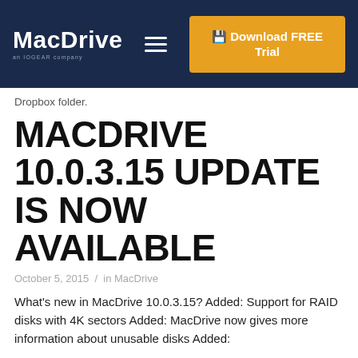[Figure (screenshot): MacDrive website navigation bar with logo, hamburger menu icon, and orange Download FREE Trial button on dark navy background]
Dropbox folder.
MACDRIVE 10.0.3.15 UPDATE IS NOW AVAILABLE
October 5, 2015 /  in MacDrive
What's new in MacDrive 10.0.3.15? Added: Support for RAID disks with 4K sectors Added: MacDrive now gives more information about unusable disks Added: